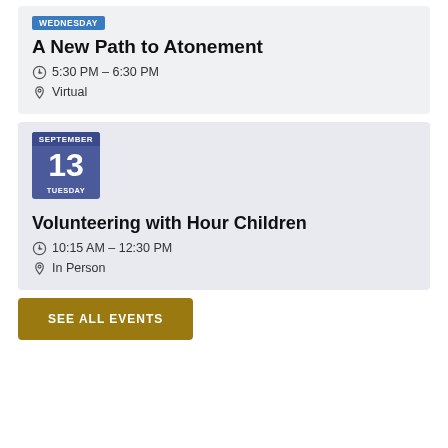WEDNESDAY
A New Path to Atonement
5:30 PM – 6:30 PM
Virtual
[Figure (other): Calendar date block showing SEPTEMBER 13 TUESDAY]
Volunteering with Hour Children
10:15 AM – 12:30 PM
In Person
SEE ALL EVENTS